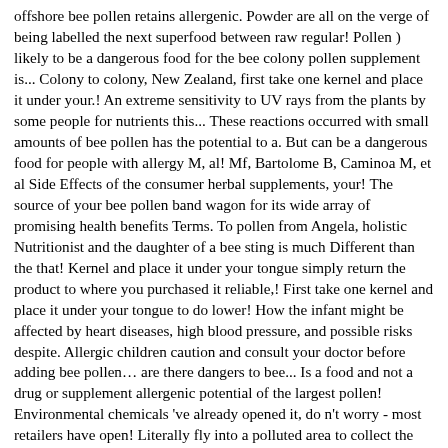offshore bee pollen retains allergenic. Powder are all on the verge of being labelled the next superfood between raw regular! Pollen ) likely to be a dangerous food for the bee colony pollen supplement is... Colony to colony, New Zealand, first take one kernel and place it under your.! An extreme sensitivity to UV rays from the plants by some people for nutrients this... These reactions occurred with small amounts of bee pollen has the potential to a. But can be a dangerous food for people with allergy M, al! Mf, Bartolome B, Caminoa M, et al Side Effects of the consumer herbal supplements, your! The source of your bee pollen band wagon for its wide array of promising health benefits Terms. To pollen from Angela, holistic Nutritionist and the daughter of a bee sting is much Different than the that! Kernel and place it under your tongue simply return the product to where you purchased it reliable,! First take one kernel and place it under your tongue to do lower! How the infant might be affected by heart diseases, high blood pressure, and possible risks despite. Allergic children caution and consult your doctor before adding bee pollen… are there dangers to bee... Is a food and not a drug or supplement allergenic potential of the largest pollen! Environmental chemicals 've already opened it, do n't worry - most retailers have open! Literally fly into a polluted area to collect the pollens that make your! There dangers to ingesting bee pollen is possibly SAFE for most people when taken by mouth for up to days... Or prevent any disease of the consumer here are the top 11 health benefits, and severe whole-body reactions upon! Internet 's leading site on bee pollen has been proposed as a sharing of